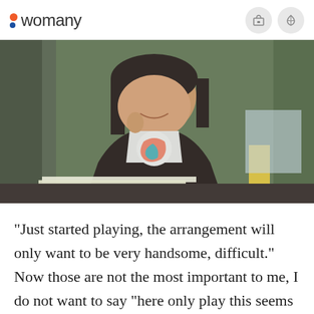womany
[Figure (photo): A young woman with short dark hair, smiling, wearing a black cardigan over a colorful t-shirt, sitting at a desk with papers and books. Background shows a green hedge wall. Watermark reads 'womany.net 女人迷'.]
"Just started playing, the arrangement will only want to be very handsome, difficult." Now those are not the most important to me, I do not want to say "here only play this seems too simple", but it will be to think I have followed the whole